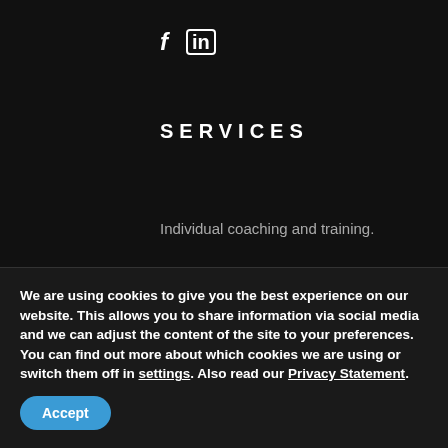[Figure (logo): Social media icons: f (Facebook) and in (LinkedIn) in white on dark background]
SERVICES
Individual coaching and training.
CONTACT
Contact me NOW to get a free consultation
We are using cookies to give you the best experience on our website. This allows you to share information via social media and we can adjust the content of the site to your preferences.
You can find out more about which cookies we are using or switch them off in settings. Also read our Privacy Statement.
Accept